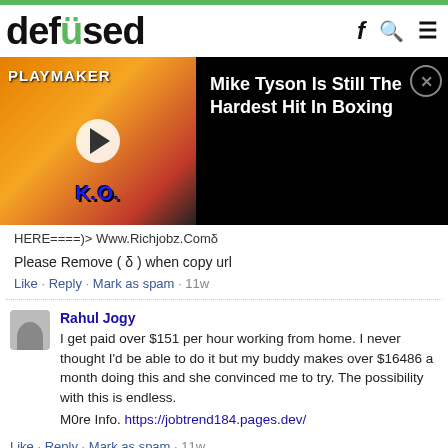defused
[Figure (screenshot): Video thumbnail for 'Mike Tyson Is Still The Hardest Hit In Boxing' with play button and Playmaker K.O. branding on black background]
HERE====)> Www.Richjobz.Comδ
Please Remove ( δ ) when copy url
Like · Reply · Mark as spam · 11w
Rahul Jogy
I get paid over $151 per hour working from home. I never thought I'd be able to do it but my buddy makes over $16486 a month doing this and she convinced me to try. The possibility with this is endless.
M0re Info. https://jobtrend184.pages.dev/
Like · Reply · Mark as spam · 11w